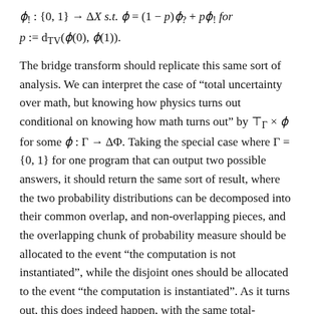The bridge transform should replicate this same sort of analysis. We can interpret the case of “total uncertainty over math, but knowing how physics turns out conditional on knowing how math turns out” by T_Γ × ϕ for some ϕ : Γ → ΔΦ. Taking the special case where Γ = {0, 1} for one program that can output two possible answers, it should return the same sort of result, where the two probability distributions can be decomposed into their common overlap, and non-overlapping pieces, and the overlapping chunk of probability measure should be allocated to the event “the computation is not instantiated”, while the disjoint ones should be allocated to the event “the computation is instantiated”. As it turns out, this does indeed happen, with the same total-variation-